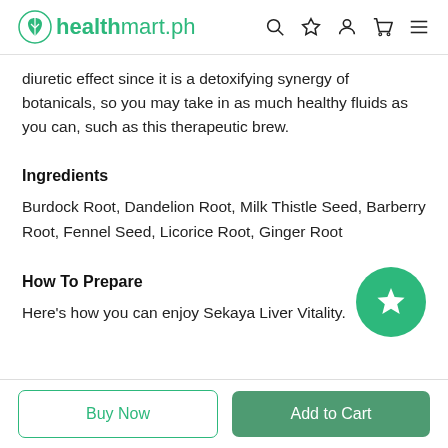healthmart.ph
diuretic effect since it is a detoxifying synergy of botanicals, so you may take in as much healthy fluids as you can, such as this therapeutic brew.
Ingredients
Burdock Root, Dandelion Root, Milk Thistle Seed, Barberry Root, Fennel Seed, Licorice Root, Ginger Root
How To Prepare
Here's how you can enjoy Sekaya Liver Vitality.